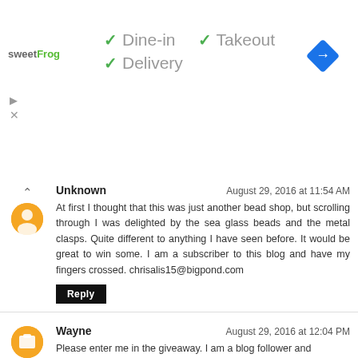[Figure (logo): sweetFrog logo and ad banner with Dine-in, Takeout, Delivery checkmarks and a blue map/direction diamond icon]
Unknown
August 29, 2016 at 11:54 AM
At first I thought that this was just another bead shop, but scrolling through I was delighted by the sea glass beads and the metal clasps. Quite different to anything I have seen before. It would be great to win some. I am a subscriber to this blog and have my fingers crossed. chrisalis15@bigpond.com
Reply
Wayne
August 29, 2016 at 12:04 PM
Please enter me in the giveaway. I am a blog follower and subscriber.

Thanks
Reply